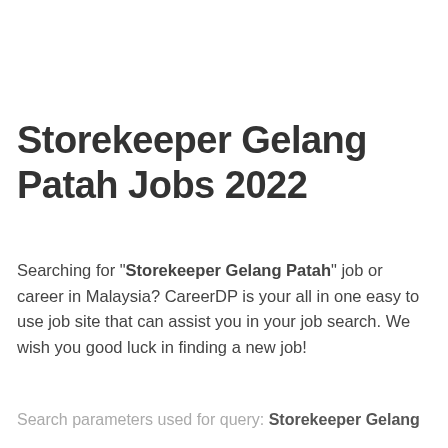Storekeeper Gelang Patah Jobs 2022
Searching for "Storekeeper Gelang Patah" job or career in Malaysia? CareerDP is your all in one easy to use job site that can assist you in your job search. We wish you good luck in finding a new job!
Search parameters used for query: Storekeeper Gelang